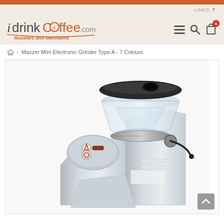idrinkcoffee.com - Roasters and Merchants
LINKS
Mazzer Mini Electronic Grinder Type A - 7 Colours
[Figure (photo): Mazzer Mini Electronic Grinder Type A in stainless steel finish, showing the transparent hopper with black lid, the burr adjustment collar, control panel with buttons, and the lower body tapering to the grounds chute.]